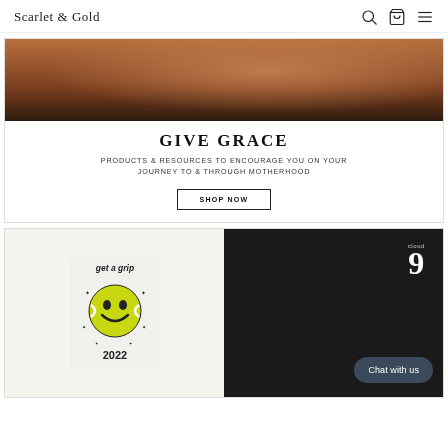Scarlet & Gold
[Figure (photo): Close-up photo of a woman's wrist wearing bracelets against a floral patterned fabric background]
GIVE GRACE
PRODUCTS & RESOURCES TO ENCOURAGE YOU ON YOUR JOURNEY TO & THROUGH MOTHERHOOD
SHOP NOW
[Figure (photo): Two product images side by side: left shows a white t-shirt with 'get a grip 2022' tennis ball smiley face graphic; right shows a black t-shirt with 'cloud 9' text and a chat bubble overlay saying 'Chat with us']